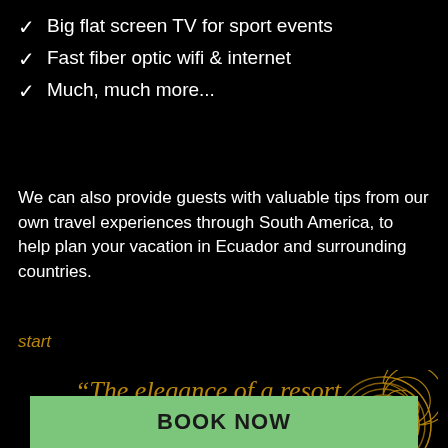Big flat screen TV for sport events
Fast fiber optic wifi & internet
Much, much more...
We can also provide guests with valuable tips from our own travel experiences through South America, to help plan your vacation in Ecuador and surrounding countries.
start
“The elegance of a resort priced for Backpackers”
[Figure (illustration): Decorative spiral logo in gold outline on black background, top right of tagline section]
BOOK NOW